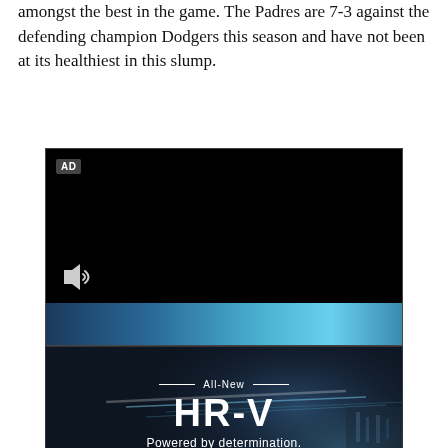amongst the best in the game. The Padres are 7-3 against the defending champion Dodgers this season and have not been at its healthiest in this slump.
[Figure (screenshot): A video player showing a black screen with an 'AD' badge in the top-left corner, a speaker/volume icon in the lower-left, and a blue light streak at the bottom. Below it is a Honda HR-V advertisement with the text 'All-New HR-V Powered by determination.' and a dark SUV image on a dramatic background.]